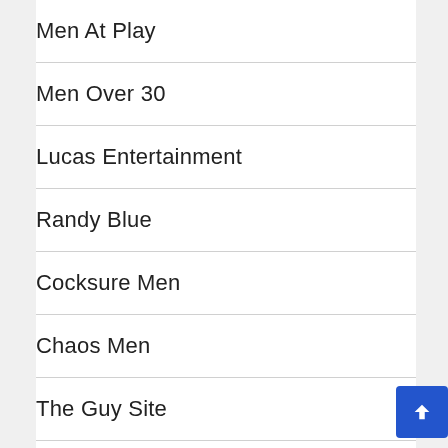Men At Play
Men Over 30
Lucas Entertainment
Randy Blue
Cocksure Men
Chaos Men
The Guy Site
UK Naked Men
Hot House